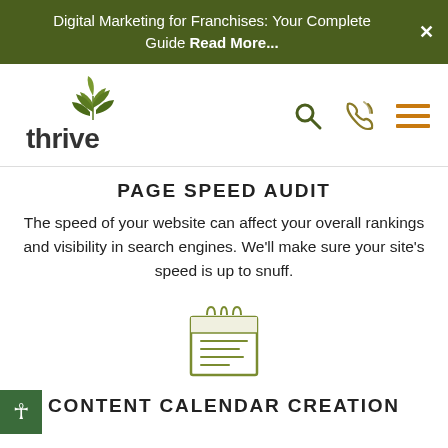Digital Marketing for Franchises: Your Complete Guide Read More...
[Figure (logo): Thrive logo: green leaf/plant icon above 'thrive' wordmark in dark gray]
[Figure (other): Navigation icons: search magnifying glass, phone/call icon, hamburger menu — all in olive/dark yellow]
PAGE SPEED AUDIT
The speed of your website can affect your overall rankings and visibility in search engines. We'll make sure your site's speed is up to snuff.
[Figure (illustration): Outline icon of a calendar/content planner with horizontal lines representing text, in olive green]
CONTENT CALENDAR CREATION